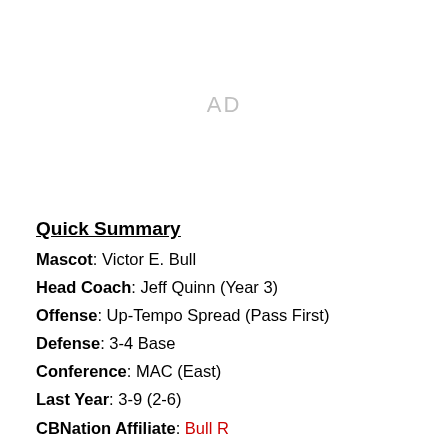[Figure (other): AD placeholder text centered in upper portion of page]
Quick Summary
Mascot: Victor E. Bull
Head Coach: Jeff Quinn (Year 3)
Offense: Up-Tempo Spread (Pass First)
Defense: 3-4 Base
Conference: MAC (East)
Last Year: 3-9 (2-6)
CBNation Affiliate: Bull Run